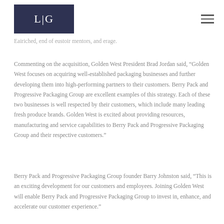[Figure (logo): LG logo — white serif letters 'L|G' on dark navy/indigo background rectangle]
Eairiched, end of eustoir mentors, and erage.
Commenting on the acquisition, Golden West President Brad Jordan said, “Golden West focuses on acquiring well-established packaging businesses and further developing them into high-performing partners to their customers. Berry Pack and Progressive Packaging Group are excellent examples of this strategy. Each of these two businesses is well respected by their customers, which include many leading fresh produce brands. Golden West is excited about providing resources, manufacturing and service capabilities to Berry Pack and Progressive Packaging Group and their respective customers.”
Berry Pack and Progressive Packaging Group founder Barry Johnston said, “This is an exciting development for our customers and employees. Joining Golden West will enable Berry Pack and Progressive Packaging Group to invest in, enhance, and accelerate our customer experience.”